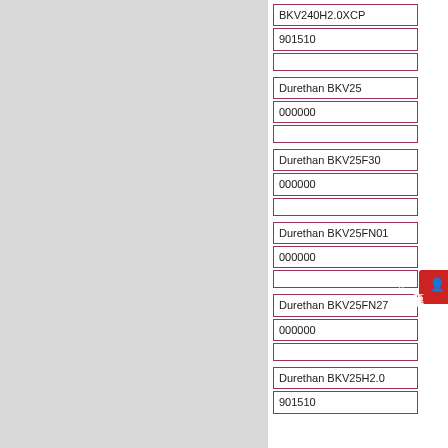| BKV240H2.0XCP |
| 901510 |
|  |
| Durethan BKV25 |
| 000000 |
|  |
| Durethan BKV25F30 |
| 000000 |
|  |
| Durethan BKV25FN01 |
| 000000 |
|  |
| Durethan BKV25FN27 |
| 000000 |
|  |
| Durethan BKV25H2.0 |
| 901510 |
|  |